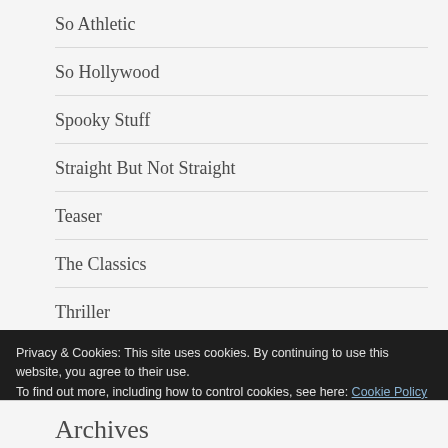So Athletic
So Hollywood
Spooky Stuff
Straight But Not Straight
Teaser
The Classics
Thriller
Privacy & Cookies: This site uses cookies. By continuing to use this website, you agree to their use.
To find out more, including how to control cookies, see here: Cookie Policy
Close and accept
Archives